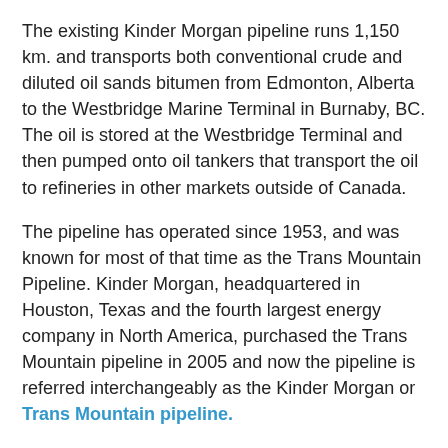The existing Kinder Morgan pipeline runs 1,150 km. and transports both conventional crude and diluted oil sands bitumen from Edmonton, Alberta to the Westbridge Marine Terminal in Burnaby, BC. The oil is stored at the Westbridge Terminal and then pumped onto oil tankers that transport the oil to refineries in other markets outside of Canada.
The pipeline has operated since 1953, and was known for most of that time as the Trans Mountain Pipeline. Kinder Morgan, headquartered in Houston, Texas and the fourth largest energy company in North America, purchased the Trans Mountain pipeline in 2005 and now the pipeline is referred interchangeably as the Kinder Morgan or Trans Mountain pipeline.
Kinder Morgan is currently proposing to twin the Trans Mountain pipeline with an additional 994 km. of new pipe. According to Kinder Morgan, this pipeline expansion would increase the amount of oil transported from Edmonton to